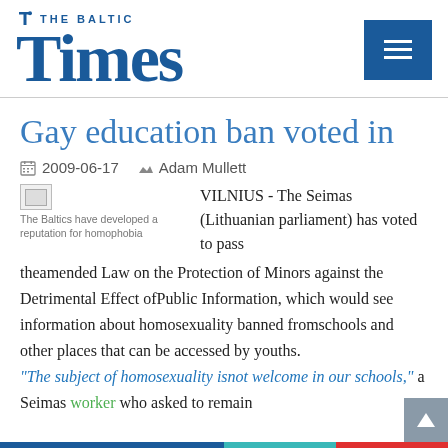THE BALTIC Times
Gay education ban voted in
2009-06-17  Adam Mullett
[Figure (photo): Broken image placeholder with caption: The Baltics have developed a reputation for homophobia]
The Baltics have developed a reputation for homophobia
VILNIUS - The Seimas (Lithuanian parliament) has voted to pass theamended Law on the Protection of Minors against the Detrimental Effect ofPublic Information, which would see information about homosexuality banned fromschools and other places that can be accessed by youths. "The subject of homosexuality isnot welcome in our schools," a Seimas worker who asked to remain